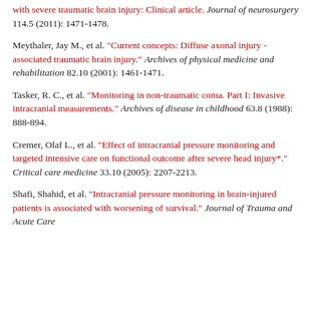with severe traumatic brain injury: Clinical article. Journal of neurosurgery 114.5 (2011): 1471-1478.
Meythaler, Jay M., et al. "Current concepts: Diffuse axonal injury - associated traumatic brain injury." Archives of physical medicine and rehabilitation 82.10 (2001): 1461-1471.
Tasker, R. C., et al. "Monitoring in non-traumatic coma. Part I: Invasive intracranial measurements." Archives of disease in childhood 63.8 (1988): 888-894.
Cremer, Olaf L., et al. "Effect of intracranial pressure monitoring and targeted intensive care on functional outcome after severe head injury*." Critical care medicine 33.10 (2005): 2207-2213.
Shafi, Shahid, et al. "Intracranial pressure monitoring in brain-injured patients is associated with worsening of survival." Journal of Trauma and Acute Care